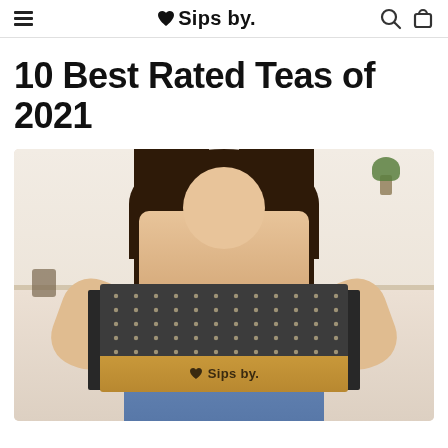Sips by
10 Best Rated Teas of 2021
[Figure (photo): A woman holding a Sips by branded tea subscription box toward the camera. The box has a dark dotted pattern on top and a kraft cardboard bottom with the Sips by logo and heart.]